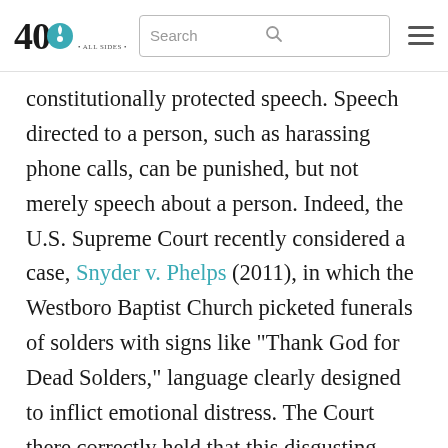40 [logo] Search [hamburger menu]
constitutionally protected speech. Speech directed to a person, such as harassing phone calls, can be punished, but not merely speech about a person. Indeed, the U.S. Supreme Court recently considered a case, Snyder v. Phelps (2011), in which the Westboro Baptist Church picketed funerals of solders with signs like “Thank God for Dead Solders,” language clearly designed to inflict emotional distress. The Court there correctly held that this disgusting speech, which intentionally causes severe emotional distress, is protected by the First Amendment from...